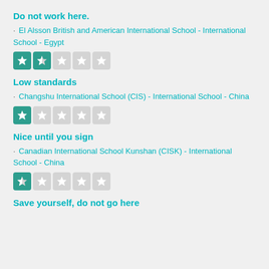Do not work here.
· El Alsson British and American International School - International School - Egypt
[Figure (other): Star rating: 1.5 out of 5 stars]
Low standards
· Changshu International School (CIS) - International School - China
[Figure (other): Star rating: 1 out of 5 stars]
Nice until you sign
· Canadian International School Kunshan (CISK) - International School - China
[Figure (other): Star rating: 0.5 out of 5 stars]
Save yourself, do not go here